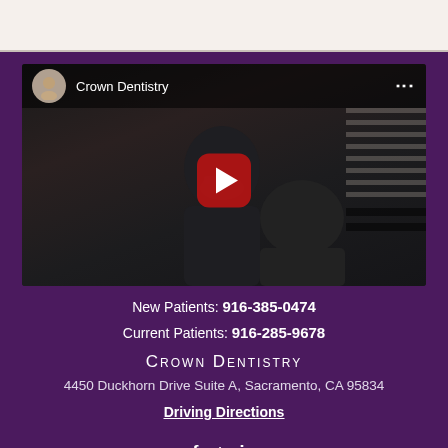[Figure (screenshot): YouTube video embed for Crown Dentistry showing a dental procedure with dentist and patient in dark setting, with YouTube play button overlay and channel name/avatar at top]
New Patients: 916-385-0474
Current Patients: 916-285-9678
Crown Dentistry
4450 Duckhorn Drive Suite A, Sacramento, CA 95834
Driving Directions